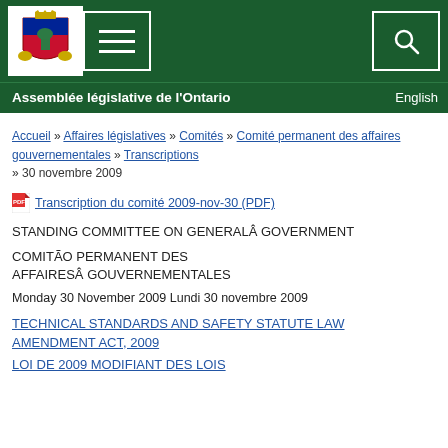[Figure (logo): Ontario Legislative Assembly coat of arms logo on dark green navigation bar with hamburger menu button and search button]
Assemblée législative de l'Ontario | English
Accueil » Affaires législatives » Comités » Comité permanent des affaires gouvernementales » Transcriptions » 30 novembre 2009
Transcription du comité 2009-nov-30 (PDF)
STANDING COMMITTEE ON GENERALÂ GOVERNMENT
COMITÃO PERMANENT DES AFFAIRESÂ GOUVERNEMENTALES
Monday 30 November 2009 Lundi 30 novembre 2009
TECHNICAL STANDARDS AND SAFETY STATUTE LAW AMENDMENT ACT, 2009
LOI DE 2009 MODIFIANT DES LOIS